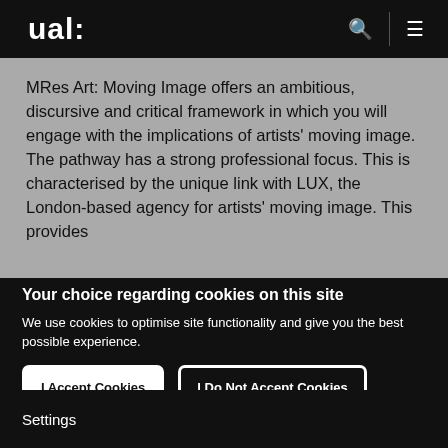ual:
MRes Art: Moving Image offers an ambitious, discursive and critical framework in which you will engage with the implications of artists' moving image. The pathway has a strong professional focus. This is characterised by the unique link with LUX, the London-based agency for artists' moving image. This provides
Your choice regarding cookies on this site
We use cookies to optimise site functionality and give you the best possible experience.
I Accept Cookies
I Do Not Accept Cookies
Settings